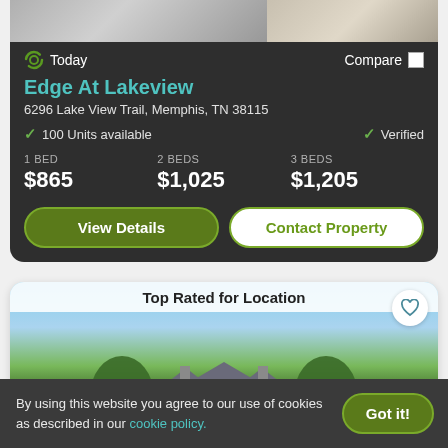[Figure (screenshot): Dark-themed apartment listing card for Edge At Lakeview with photo strip at top]
Today
Compare
Edge At Lakeview
6296 Lake View Trail, Memphis, TN 38115
✓ 100 Units available
✓ Verified
1 BED
$865
2 BEDS
$1,025
3 BEDS
$1,205
View Details
Contact Property
[Figure (photo): Photo of a colonial-style apartment building with trees, labeled Top Rated for Location]
Top Rated for Location
By using this website you agree to our use of cookies as described in our cookie policy.
Got it!